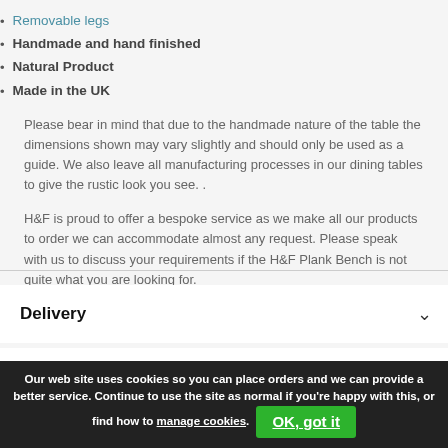Removable legs
Handmade and hand finished
Natural Product
Made in the UK
Please bear in mind that due to the handmade nature of the table the dimensions shown may vary slightly and should only be used as a guide.  We also leave all manufacturing processes in our dining tables to give the rustic look you see. .
H&F is proud to offer a bespoke service as we make all our products to order we can accommodate almost any request. Please speak with us to discuss your requirements if the H&F Plank Bench is not quite what you are looking for.
Delivery
Dimensions
Our web site uses cookies so you can place orders and we can provide a better service. Continue to use the site as normal if you're happy with this, or find how to manage cookies. OK, got it